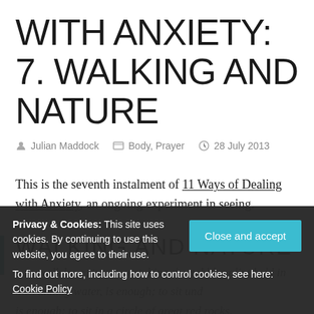WITH ANXIETY: 7. WALKING AND NATURE
Julian Maddock   Body, Prayer   28 July 2013
This is the seventh instalment of 11 Ways of Dealing with Anxiety, an ongoing experiment in seeing.
WALKING AND NATURE
...to walk by a stream, watching the pebbles glint held in the running water, is enough; to sit und...
is enough; to sit in a circle of great red rocks,
Privacy & Cookies: This site uses cookies. By continuing to use this website, you agree to their use. To find out more, including how to control cookies, see here: Cookie Policy